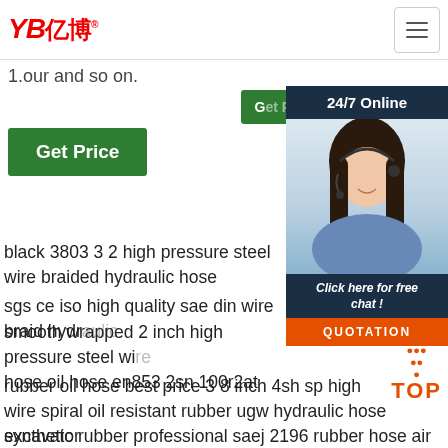YB亿博® [hamburger menu]
1.our and so on.
Get Price
Get Price
[Figure (photo): Customer service representative woman with headset, 24/7 Online chat widget with dark navy background, orange QUOTATION button, and 'Click here for free chat!' text]
black 3803 3 2 high pressure steel wire braided hydraulic hose
sgs ce iso high quality sae din wire braid hydraulic hose
smooth wrapped 2 inch high pressure steel wire hose oil hose en853 2sn 100r2at
rubber oil hose best price 3 8 inch 4sh sp high wire spiral oil resistant rubber ugw hydraulic hose excavator water rubber hose 3204sp high pressure steel wire spiral rubber hydraulic hose oil hose air hose en856 4sp 5 4inch color industrial braided reinforced hydraulic rubber sand blast hose cement concrete
synthetic rubber professional saej 2196 rubber hose air conditioning charging refrigerant